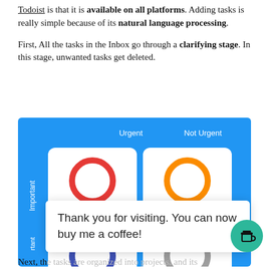Todoist is that it is available on all platforms. Adding tasks is really simple because of its natural language processing.
First, All the tasks in the Inbox go through a clarifying stage. In this stage, unwanted tasks get deleted.
[Figure (infographic): Blue background Todoist priority matrix showing 4 quadrants: Urgent/Important = Priority 1 (red circle), Not Urgent/Important = Priority 2 (orange circle), Urgent/Not Important = Priority 3 (blue circle, partially visible), Not Urgent/Not Important = Priority 4 (gray circle, partially visible). Axes labeled Urgent/Not Urgent across top, Important/Not Important on left side.]
Thank you for visiting. You can now buy me a coffee!
Next, the tasks are organized into projects, and its